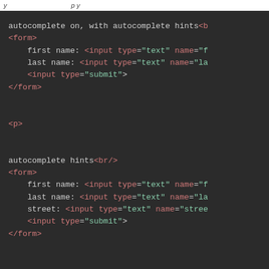y...                              p y
[Figure (screenshot): Dark-themed code editor screenshot showing HTML code with autocomplete hints, two form blocks with input fields for first name, last name, street, and submit buttons.]